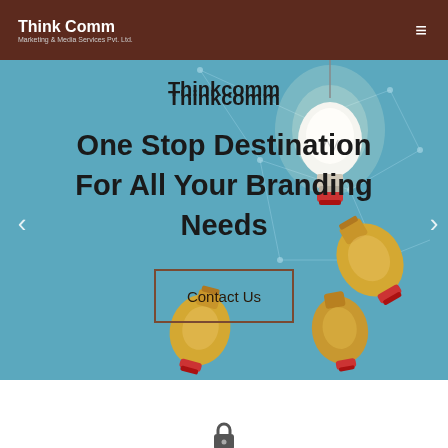Think Comm Marketing & Media Services Pvt. Ltd.
Thinkcomm
One Stop Destination For All Your Branding Needs
Contact Us
[Figure (photo): Hero banner with light bulbs on a teal background, one glowing white bulb standing upright surrounded by yellow unlit bulbs lying on their sides, with a geometric network pattern overlay]